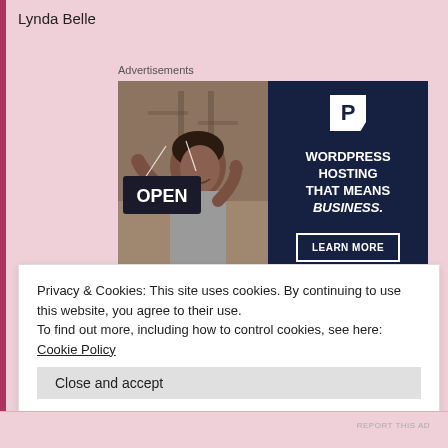Lynda Belle
Advertisements
[Figure (infographic): Advertisement banner: left half shows a woman holding an OPEN sign in a shop; right half has dark navy background with a white P parking-style logo, bold white text reading 'WORDPRESS HOSTING THAT MEANS BUSINESS.' and a 'LEARN MORE' button with white border.]
REPORT THIS AD
Privacy & Cookies: This site uses cookies. By continuing to use this website, you agree to their use.
To find out more, including how to control cookies, see here: Cookie Policy
Close and accept